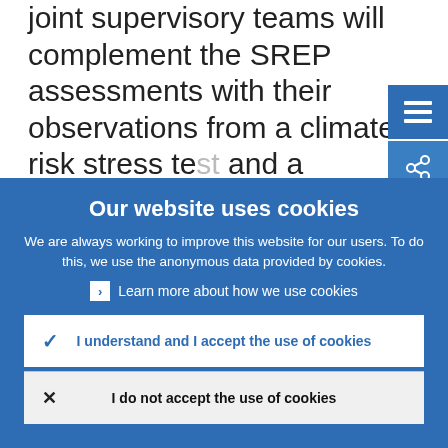Evaluation Process (SREP). This year, our joint supervisory teams will complement the SREP assessments with their observations from a climate risk stress test and a thematic review on how banks
Our website uses cookies
We are always working to improve this website for our users. To do this, we use the anonymous data provided by cookies.
Learn more about how we use cookies
I understand and I accept the use of cookies
I do not accept the use of cookies